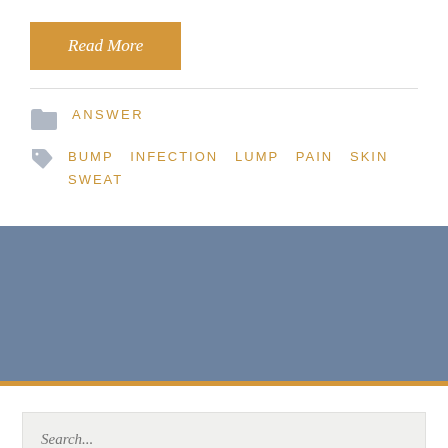Read More
ANSWER
BUMP  INFECTION  LUMP  PAIN  SKIN  SWEAT
Search...